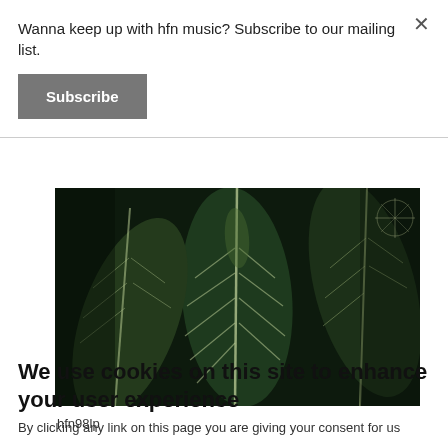Wanna keep up with hfn music? Subscribe to our mailing list.
Subscribe
[Figure (photo): Close-up photograph of large dark green tropical leaves with prominent white veins, against a very dark background.]
hfn98lp
We use cookies on this site to enhance your user experience
By clicking any link on this page you are giving your consent for us